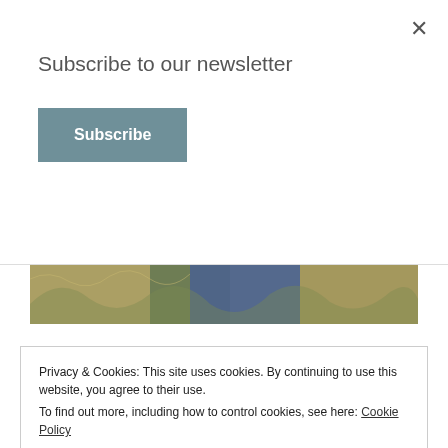Subscribe to our newsletter
Subscribe
[Figure (photo): Hero banner photograph showing an outdoor nature scene with people in jeans, golden grasses and blue tones]
BLOG, BOOK REVIEW, GIVEAWAY
Someplace Familiar Blog
Privacy & Cookies: This site uses cookies. By continuing to use this website, you agree to their use.
To find out more, including how to control cookies, see here: Cookie Policy
Close and accept